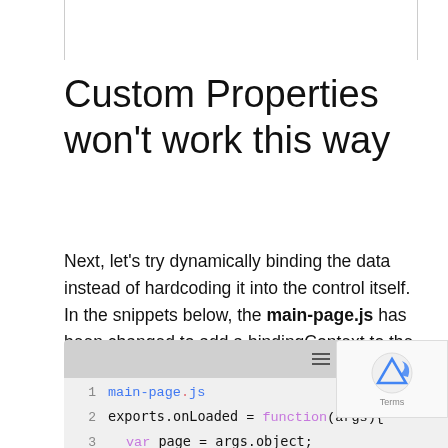Custom Properties won't work this way
Next, let's try dynamically binding the data instead of hardcoding it into the control itself. In the snippets below, the main-page.js has been changed to add a bindingContext to the page with questions and answers passed in. The main-page.xml file now uses the mustache syntax to bind the properties to the binding context.
[Figure (screenshot): Code editor snippet showing main-page.js with line numbers 1, 2, 3. Line 1: main-page.js, Line 2: exports.onLoaded = function(args){, Line 3: var page = args.object;]